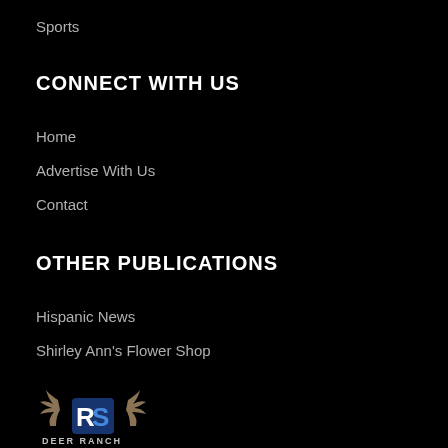Sports
CONNECT WITH US
Home
Advertise With Us
Contact
OTHER PUBLICATIONS
Hispanic News
Shirley Ann's Flower Shop
[Figure (logo): Deer Ranch logo with stylized deer antlers and 'RS' initials in blue, text 'DEER RANCH' at bottom]